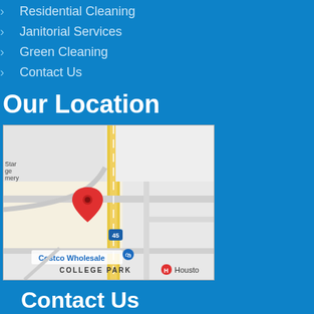Residential Cleaning
Janitorial Services
Green Cleaning
Contact Us
Our Location
[Figure (map): Google Maps screenshot showing a location pin near I-45 in College Park area of Houston, TX with Costco Wholesale visible]
Contact Us